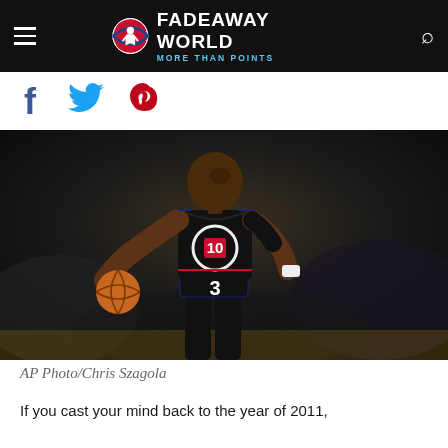FADEAWAY WORLD — MORE THAN POINTS
[Figure (logo): Fadeaway World NBA logo circle with player icon]
[Figure (photo): AP photo of NBA player wearing Los Angeles Clippers #3 black jersey holding a basketball, looking to the side]
AP Photo/Chris Szagola
If you cast your mind back to the year of 2011,